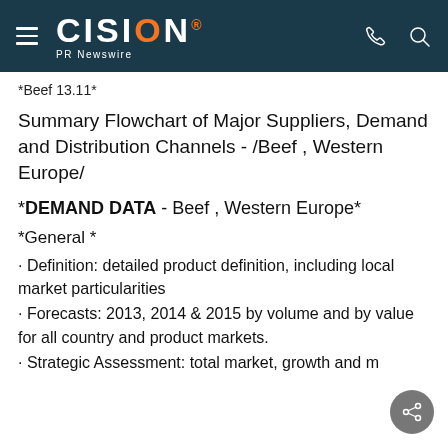CISION PR Newswire
*Beef 13.11*
Summary Flowchart of Major Suppliers, Demand and Distribution Channels - /Beef , Western Europe/
*DEMAND DATA - Beef , Western Europe*
*General *
· Definition: detailed product definition, including local market particularities
· Forecasts: 2013, 2014 & 2015 by volume and by value for all country and product markets.
· Strategic Assessment: total market, growth and m...